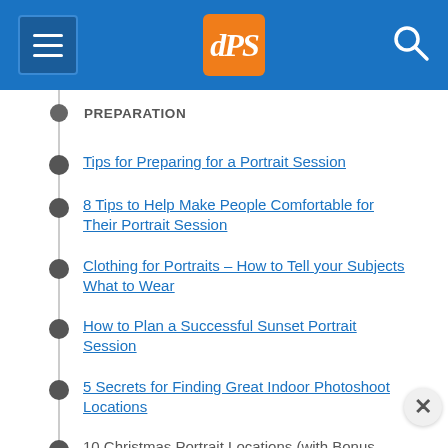dPS (Digital Photography School) navigation header with hamburger menu, logo, and search icon
PREPARATION
Tips for Preparing for a Portrait Session
8 Tips to Help Make People Comfortable for Their Portrait Session
Clothing for Portraits – How to Tell your Subjects What to Wear
How to Plan a Successful Sunset Portrait Session
5 Secrets for Finding Great Indoor Photoshoot Locations
10 Christmas Portrait Locations (with Bonus